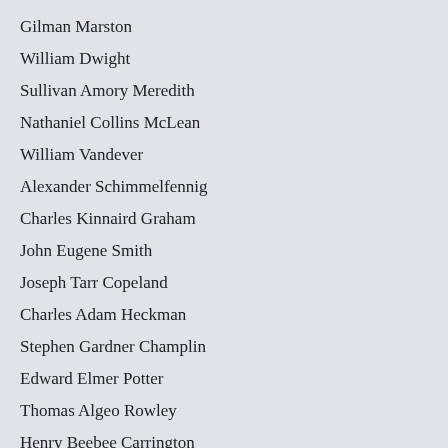Gilman Marston
William Dwight
Sullivan Amory Meredith
Nathaniel Collins McLean
William Vandever
Alexander Schimmelfennig
Charles Kinnaird Graham
John Eugene Smith
Joseph Tarr Copeland
Charles Adam Heckman
Stephen Gardner Champlin
Edward Elmer Potter
Thomas Algeo Rowley
Henry Beebee Carrington